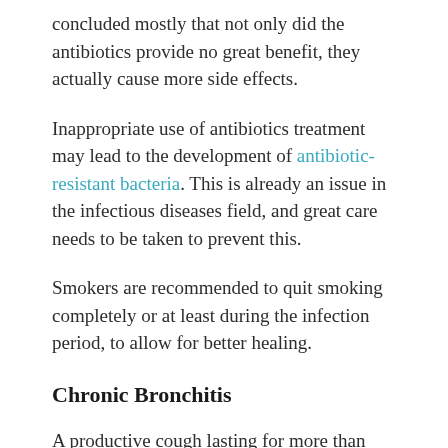concluded mostly that not only did the antibiotics provide no great benefit, they actually cause more side effects.
Inappropriate use of antibiotics treatment may lead to the development of antibiotic-resistant bacteria. This is already an issue in the infectious diseases field, and great care needs to be taken to prevent this.
Smokers are recommended to quit smoking completely or at least during the infection period, to allow for better healing.
Chronic Bronchitis
A productive cough lasting for more than three months is defined as chronic bronchitis. It is a respiratory disease with characteristic overproduction of mucus. If